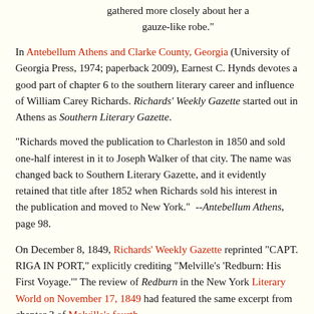gathered more closely about her a gauze-like robe."
In Antebellum Athens and Clarke County, Georgia (University of Georgia Press, 1974; paperback 2009), Earnest C. Hynds devotes a good part of chapter 6 to the southern literary career and influence of William Carey Richards. Richards' Weekly Gazette started out in Athens as Southern Literary Gazette.
"Richards moved the publication to Charleston in 1850 and sold one-half interest in it to Joseph Walker of that city. The name was changed back to Southern Literary Gazette, and it evidently retained that title after 1852 when Richards sold his interest in the publication and moved to New York."  --Antebellum Athens, page 98.
On December 8, 1849, Richards' Weekly Gazette reprinted "CAPT. RIGA IN PORT," explicitly crediting "Melville's 'Redburn: His First Voyage.'" The review of Redburn in the New York Literary World on November 17, 1849 had featured the same excerpt from chapter 3 of Melville's fourth